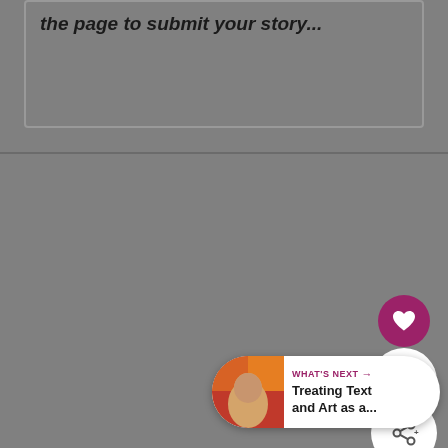the page to submit your story...
[Figure (screenshot): UI widget showing a heart/like button (pink circle with heart icon), a count of 38, and a share button (white circle with share icon)]
[Figure (infographic): What's Next promotional card with thumbnail photo and text: WHAT'S NEXT → Treating Text and Art as a...]